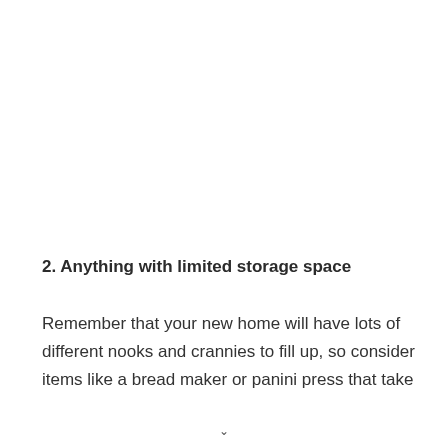2. Anything with limited storage space
Remember that your new home will have lots of different nooks and crannies to fill up, so consider items like a bread maker or panini press that take up to the storage from your home to the t